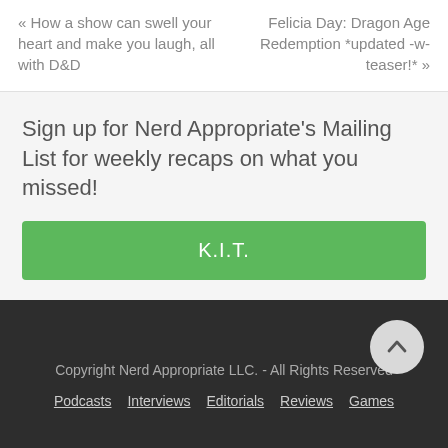« How a show can swell your heart and make you laugh, all with D&D
Felicia Day: Dragon Age Redemption *updated -w- teaser!* »
Sign up for Nerd Appropriate's Mailing List for weekly recaps on what you missed!
K.I.T.
Copyright Nerd Appropriate LLC. - All Rights Reserved
Podcasts
Interviews
Editorials
Reviews
Games